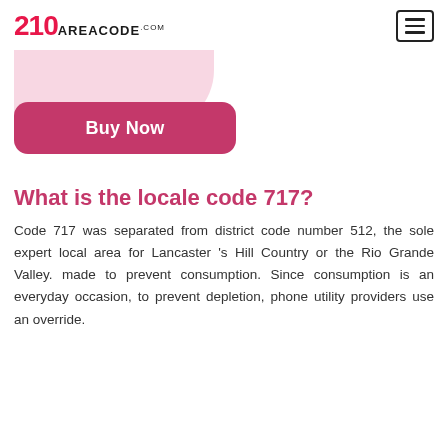210areacode.com
[Figure (illustration): Pink rounded card/blob shape with a 'Buy Now' button in dark pink/mauve color below it]
What is the locale code 717?
Code 717 was separated from district code number 512, the sole expert local area for Lancaster 's Hill Country or the Rio Grande Valley. made to prevent consumption. Since consumption is an everyday occasion, to prevent depletion, phone utility providers use an override.